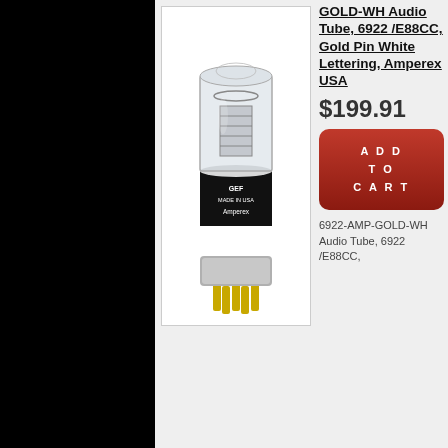[Figure (photo): Amperex USA 6922/E88CC gold pin vacuum tube with white lettering, shown against white background. The tube has gold pins at the bottom and a cylindrical glass envelope with internal components visible.]
GOLD-WH Audio Tube, 6922/E88CC, Gold Pin White Lettering, Amperex USA
$199.91
ADD TO CART
6922-AMP-GOLD-WH Audio Tube, 6922/E88CC,